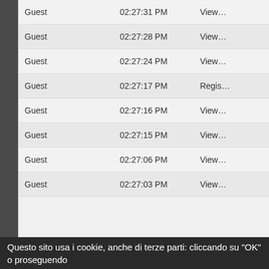| User | Time | Action |
| --- | --- | --- |
| Guest | 02:27:31 PM | View… |
| Guest | 02:27:28 PM | View… |
| Guest | 02:27:24 PM | View… |
| Guest | 02:27:17 PM | Regis… |
| Guest | 02:27:16 PM | View… |
| Guest | 02:27:15 PM | View… |
| Guest | 02:27:06 PM | View… |
| Guest | 02:27:03 PM | View… |
Questo sito usa i cookie, anche di terze parti: cliccando su "OK" o proseguendo